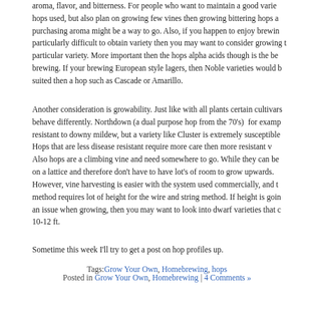aroma, flavor, and bitterness. For people who want to maintain a good vari... hops used, but also plan on growing few vines then growing bittering hops a... purchasing aroma might be a way to go. Also, if you happen to enjoy brewin... particularly difficult to obtain variety then you may want to consider growing t... particular variety. More important then the hops alpha acids though is the be... brewing. If your brewing European style lagers, then Noble varieties would b... suited then a hop such as Cascade or Amarillo.
Another consideration is growability. Just like with all plants certain cultivars behave differently. Northdown (a dual purpose hop from the 70's)  for examp... resistant to downy mildew, but a variety like Cluster is extremely susceptible. Hops that are less disease resistant require more care then more resistant v... Also hops are a climbing vine and need somewhere to go. While they can be... on a lattice and therefore don't have to have lot's of room to grow upwards. However, vine harvesting is easier with the system used commercially, and t... method requires lot of height for the wire and string method. If height is goin... an issue when growing, then you may want to look into dwarf varieties that c... 10-12 ft.
Sometime this week I'll try to get a post on hop profiles up.
Tags: Grow Your Own, Homebrewing, hops
Posted in Grow Your Own, Homebrewing | 4 Comments »